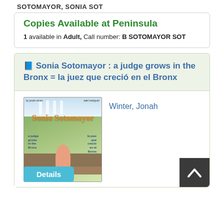SOTOMAYOR, SONIA SOT
Copies Available at Peninsula
1 available in Adult, Call number: B SOTOMAYOR SOT
Sonia Sotomayor : a judge grows in the Bronx = la juez que creció en el Bronx
[Figure (illustration): Book cover of Sonia Sotomayor: a judge grows in the Bronx, showing a young girl sitting on steps with the title in orange text]
Winter, Jonah
Details